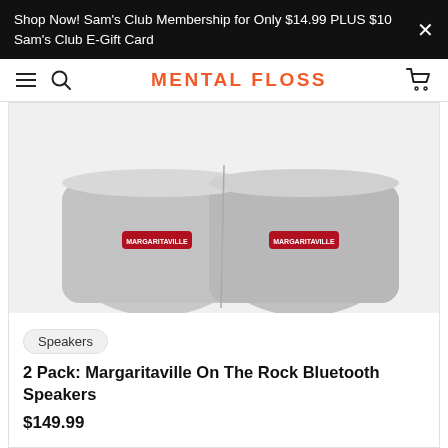Shop Now! Sam's Club Membership for Only $14.99 PLUS $10 Sam's Club E-Gift Card
MENTAL FLOSS
[Figure (photo): Two grey fabric Margaritaville Bluetooth speakers sitting side by side, each with a small red Margaritaville logo patch on the front]
Speakers
2 Pack: Margaritaville On The Rock Bluetooth Speakers
$149.99
[Figure (photo): Partial view of a second product card, showing a light grey background on the left half and white on the right half with a bookmark icon]